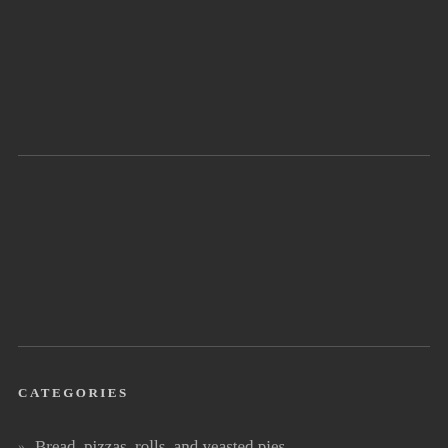CATEGORIES
Bread, pizzas, rolls, and yeasted pies
Brownies and Bars
Cake decorating
Cakes
Cheesecakes